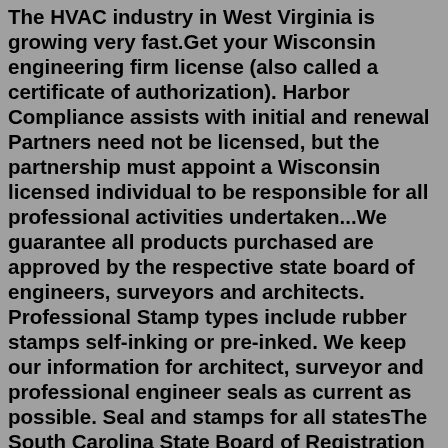The HVAC industry in West Virginia is growing very fast.Get your Wisconsin engineering firm license (also called a certificate of authorization). Harbor Compliance assists with initial and renewal Partners need not be licensed, but the partnership must appoint a Wisconsin licensed individual to be responsible for all professional activities undertaken...We guarantee all products purchased are approved by the respective state board of engineers, surveyors and architects. Professional Stamp types include rubber stamps self-inking or pre-inked. We keep our information for architect, surveyor and professional engineer seals as current as possible. Seal and stamps for all statesThe South Carolina State Board of Registration for Professional Engineers and Surveyors regulates Professional Engineers, Professional Surveyors, and firms offering or providing engineering and/or surveying services. SC LLR can assist you with examination information and materials, continuing education requirements, licensure applications and... Members of the public